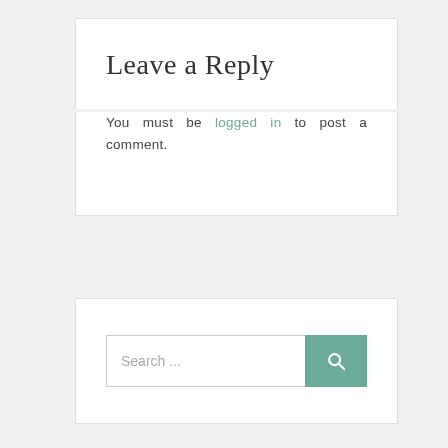Leave a Reply
You must be logged in to post a comment.
[Figure (other): Search bar with text input field labeled 'Search ...' and a teal search button with magnifying glass icon]